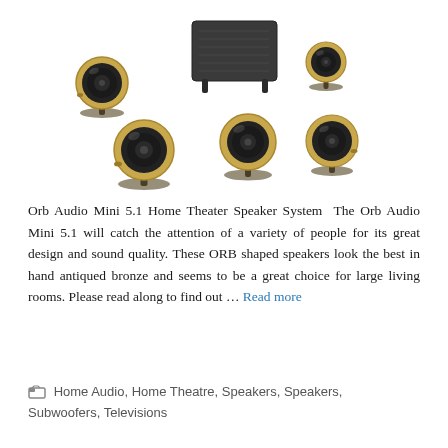[Figure (photo): Orb Audio Mini 5.1 Home Theater Speaker System product photo — five spherical speakers in hand-antiqued bronze finish on stands, plus a dark rectangular subwoofer, arranged on a white background.]
Orb Audio Mini 5.1 Home Theater Speaker System  The Orb Audio Mini 5.1 will catch the attention of a variety of people for its great design and sound quality. These ORB shaped speakers look the best in hand antiqued bronze and seems to be a great choice for large living rooms. Please read along to find out … Read more
Home Audio, Home Theatre, Speakers, Speakers, Subwoofers, Televisions